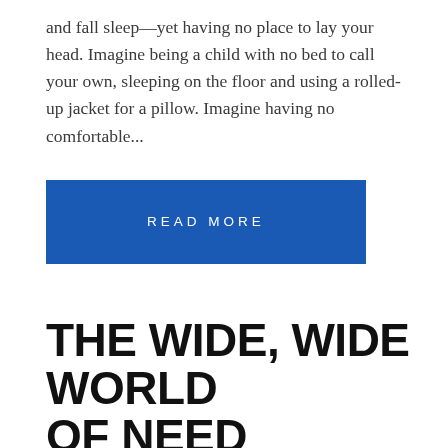and fall sleep—yet having no place to lay your head. Imagine being a child with no bed to call your own, sleeping on the floor and using a rolled-up jacket for a pillow. Imagine having no comfortable...
READ MORE
THE WIDE, WIDE WORLD OF NEED
Author: admin / On: Jul 11 / Categories: President's Letter /
Translate »